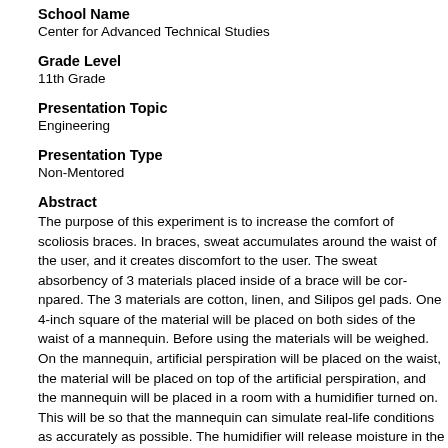School Name
Center for Advanced Technical Studies
Grade Level
11th Grade
Presentation Topic
Engineering
Presentation Type
Non-Mentored
Abstract
The purpose of this experiment is to increase the comfort of scoliosis braces. In braces, sweat accumulates around the waist of the user, and it creates discomfort to the user. The sweat absorbency of 3 materials placed inside of a brace will be compared. The 3 materials are cotton, linen, and Silipos gel pads. One 4-inch square of the material will be placed on both sides of the waist of a mannequin. Before using the materials will be weighed. On the mannequin, artificial perspiration will be placed on the waist, the material will be placed on top of the artificial perspiration, and the mannequin will be placed in a room with a humidifier turned on. This will be so that the mannequin can simulate real-life conditions as accurately as possible. The humidifier will release moisture in the room for approximately 8 hours. After the 8 hours are complete, the weight of the material will be taken once again. The difference in the weights before and after the period of 8 hours will determine how much sweat was absorbed. The prediction is that the Silipos gel pads will absorb the most sweat because they are medically pr...